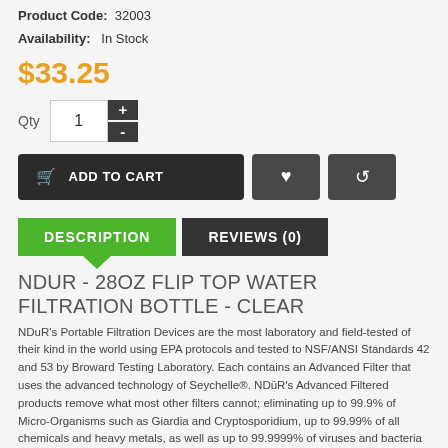Product Code: 32003
Availability: In Stock
$33.25
Qty 1 + -
ADD TO CART (with heart and refresh icon buttons)
DESCRIPTION | REVIEWS (0)
NDUR - 28OZ FLIP TOP WATER FILTRATION BOTTLE - CLEAR
NDuR's Portable Filtration Devices are the most laboratory and field-tested of their kind in the world using EPA protocols and tested to NSF/ANSI Standards 42 and 53 by Broward Testing Laboratory. Each contains an Advanced Filter that uses the advanced technology of Seychelle®. NDūR's Advanced Filtered products remove what most other filters cannot; eliminating up to 99.9% of Micro-Organisms such as Giardia and Cryptosporidium, up to 99.99% of all chemicals and heavy metals, as well as up to 99.9999% of viruses and bacteria including E-Coli